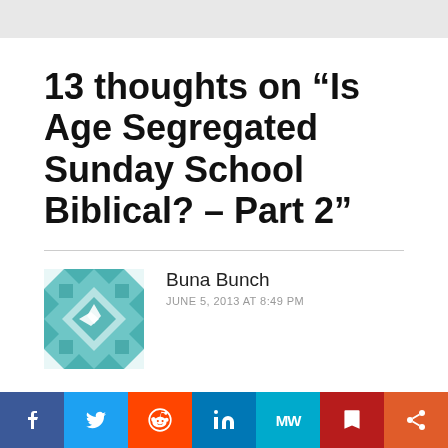13 thoughts on “Is Age Segregated Sunday School Biblical? – Part 2”
Buna Bunch
JUNE 5, 2013 AT 8:49 PM
Keith, you wrote that Dr. Waldron states…